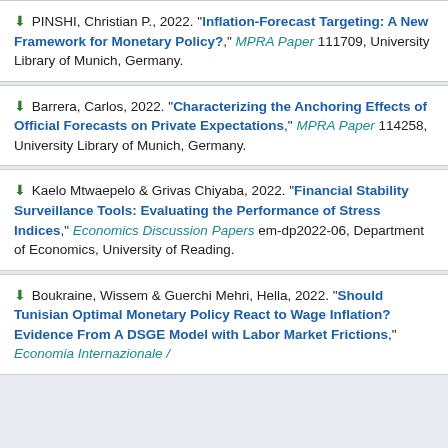PINSHI, Christian P., 2022. "Inflation-Forecast Targeting: A New Framework for Monetary Policy?," MPRA Paper 111709, University Library of Munich, Germany.
Barrera, Carlos, 2022. "Characterizing the Anchoring Effects of Official Forecasts on Private Expectations," MPRA Paper 114258, University Library of Munich, Germany.
Kaelo Mtwaepelo & Grivas Chiyaba, 2022. "Financial Stability Surveillance Tools: Evaluating the Performance of Stress Indices," Economics Discussion Papers em-dp2022-06, Department of Economics, University of Reading.
Boukraine, Wissem & Guerchi Mehri, Hella, 2022. "Should Tunisian Optimal Monetary Policy React to Wage Inflation? Evidence From A DSGE Model with Labor Market Frictions," Economia Internazionale /